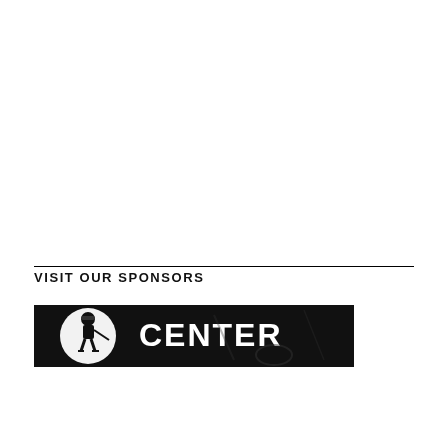VISIT OUR SPONSORS
[Figure (illustration): Sponsor banner with black background showing a hockey player illustration in a circular logo on the left and the word CENTER in large white text on the right]